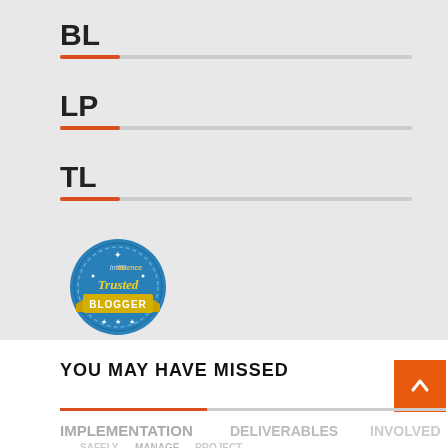BL
LP
TL
[Figure (logo): Intellifluence Trusted Blogger badge - circular blue badge with gold ribbon banner]
YOU MAY HAVE MISSED
[Figure (infographic): Word cloud at bottom of page with words: IMPLEMENTATION, FLY, DELIVERABLES, INVOLVED, SAFELY, MANAGE, PROJECT]